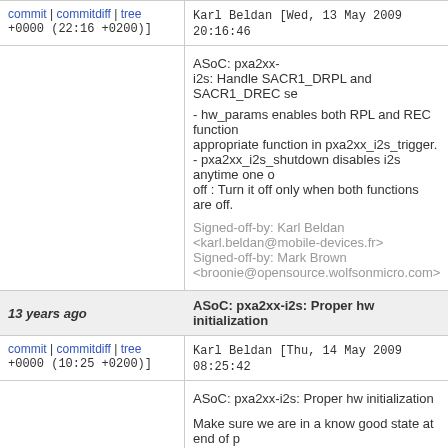commit | commitdiff | tree   Karl Beldan [Wed, 13 May 2009 20:16:46 +0000 (22:16 +0200)]
ASoC: pxa2xx-i2s: Handle SACR1_DRPL and SACR1_DREC se

- hw_params enables both RPL and REC function appropriate function in pxa2xx_i2s_trigger.
- pxa2xx_i2s_shutdown disables i2s anytime one off : Turn it off only when both functions are off.

Signed-off-by: Karl Beldan <karl.beldan@mobile-devices.fr>
Signed-off-by: Mark Brown <broonie@opensource.wolfsonmicro.com>
13 years ago   ASoC: pxa2xx-i2s: Proper hw initialization
commit | commitdiff | tree   Karl Beldan [Thu, 14 May 2009 08:25:42 +0000 (10:25 +0200)]
ASoC: pxa2xx-i2s: Proper hw initialization

Make sure we are in a know good state at end of p Reset FIFO logic and registers, and make sure RE along with FIFO service are disabled (SACR0_RS

Resetting loses current settings so remove reset f Now reset occurs only at probe.